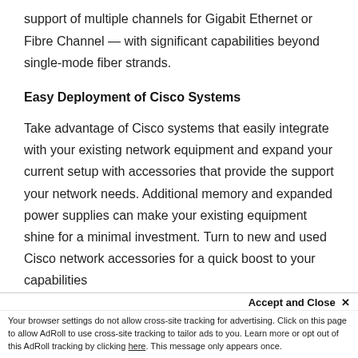support of multiple channels for Gigabit Ethernet or Fibre Channel — with significant capabilities beyond single-mode fiber strands.
Easy Deployment of Cisco Systems
Take advantage of Cisco systems that easily integrate with your existing network equipment and expand your current setup with accessories that provide the support your network needs. Additional memory and expanded power supplies can make your existing equipment shine for a minimal investment. Turn to new and used Cisco network accessories for a quick boost to your capabilities with a cost-effective upgrade path.
Fill Out Your Network
Accept and Close ×
Your browser settings do not allow cross-site tracking for advertising. Click on this page to allow AdRoll to use cross-site tracking to tailor ads to you. Learn more or opt out of this AdRoll tracking by clicking here. This message only appears once.